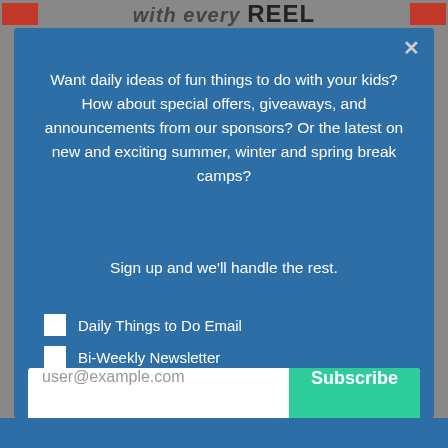[Figure (screenshot): Partially visible website header with red accent blocks and text in dark background]
Want daily ideas of fun things to do with your kids? How about special offers, giveaways, and announcements from our sponsors? Or the latest on new and exciting summer, winter and spring break camps?
Sign up and we'll handle the rest.
Daily Things to Do Email
Bi-Weekly Newsletter
Camps Newsletter
user@example.com
Subscribe